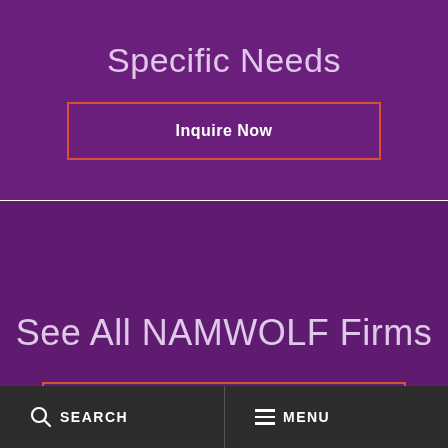Specific Needs
Inquire Now
See All NAMWOLF Firms
Search the Directory
SEARCH   MENU